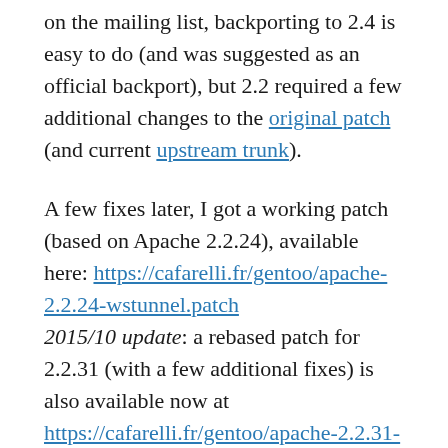on the mailing list, backporting to 2.4 is easy to do (and was suggested as an official backport), but 2.2 required a few additional changes to the original patch (and current upstream trunk).
A few fixes later, I got a working patch (based on Apache 2.2.24), available here: https://cafarelli.fr/gentoo/apache-2.2.24-wstunnel.patch
2015/10 update: a rebased patch for 2.2.31 (with a few additional fixes) is also available now at https://cafarelli.fr/gentoo/apache-2.2.31-wstunnel.patch
2016/01 update: if you get segmentation faults, this Apache bug could be interesting
Because with this patch, and you will get